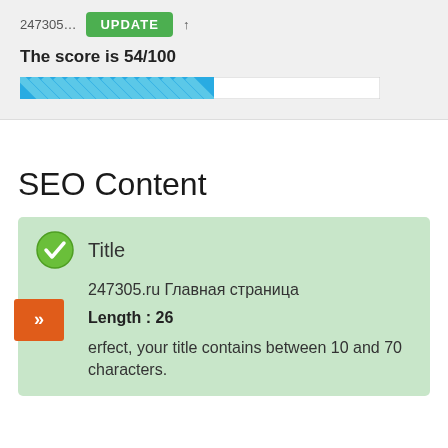The score is 54/100
[Figure (other): Progress bar showing 54% filled with blue diagonal stripe pattern on white background]
SEO Content
Title
247305.ru Главная страница
Length : 26
erfect, your title contains between 10 and 70 characters.